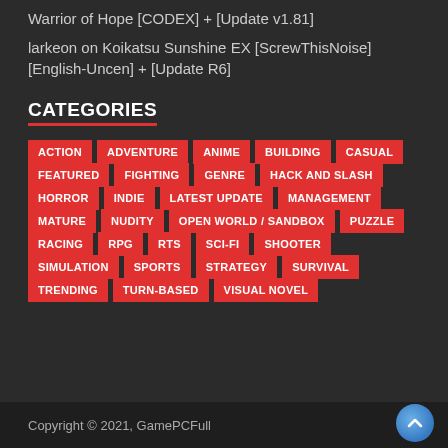Warrior of Hope [CODEX] + [Update v1.81]
larkeon on Koikatsu Sunshine EX [ScrewThisNoise] [English-Uncen] + [Update R6]
CATEGORIES
ACTION
ADVENTURE
ANIME
BUILDING
CASUAL
FEATURED
FIGHTING
GENRE
HACK AND SLASH
HORROR
INDIE
LATEST UPDATE
MANAGEMENT
MATURE
NUDITY
OPEN WORLD / SANDBOX
PUZZLE
RACING
RPG
RTS
SCI-FI
SHOOTER
SIMULATION
SPORTS
STRATEGY
SURVIVAL
TRENDING
TURN-BASED
VISUAL NOVEL
Copyright © 2021, GamePCFull